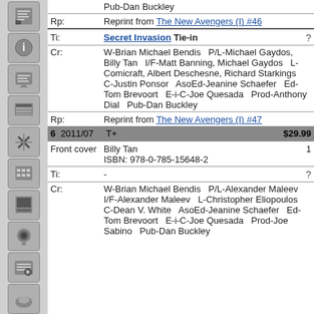| Rp: | Pub-Dan Buckley
Reprint from The New Avengers (I) #46 |
| Ti: | Secret Invasion Tie-in |
| Cr: | W-Brian Michael Bendis   P/L-Michael Gaydos, Billy Tan   I/F-Matt Banning, Michael Gaydos   L-Comicraft, Albert Deschesne, Richard Starkings   C-Justin Ponsor   AsoEd-Jeanine Schaefer   Ed-Tom Brevoort   E-i-C-Joe Quesada   Prod-Anthony Dial   Pub-Dan Buckley |
| Rp: | Reprint from The New Avengers (I) #47 |
| 6 2011/07 | T+   $29.99 |
| Front cover | Billy Tan   1
ISBN: 978-0-785-15648-2 |
| Ti: | - |
| Cr: | W-Brian Michael Bendis   P/L-Alexander Maleev   I/F-Alexander Maleev   L-Christopher Eliopoulos   C-Dean V. White   AsoEd-Jeanine Schaefer   Ed-Tom Brevoort   E-i-C-Joe Quesada   Prod-Joe Sabino   Pub-Dan Buckley |